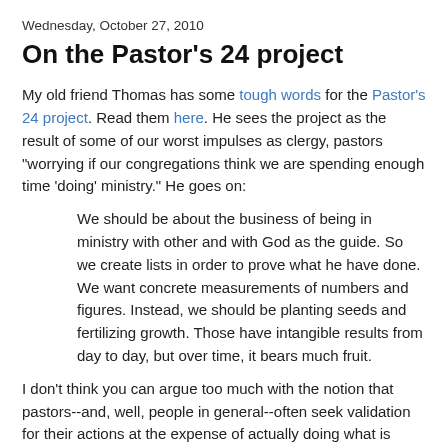Wednesday, October 27, 2010
On the Pastor's 24 project
My old friend Thomas has some tough words for the Pastor's 24 project. Read them here. He sees the project as the result of some of our worst impulses as clergy, pastors "worrying if our congregations think we are spending enough time 'doing' ministry." He goes on:
We should be about the business of being in ministry with other and with God as the guide. So we create lists in order to prove what he have done. We want concrete measurements of numbers and figures. Instead, we should be planting seeds and fertilizing growth. Those have intangible results from day to day, but over time, it bears much fruit.
I don't think you can argue too much with the notion that pastors--and, well, people in general--often seek validation for their actions at the expense of actually doing what is